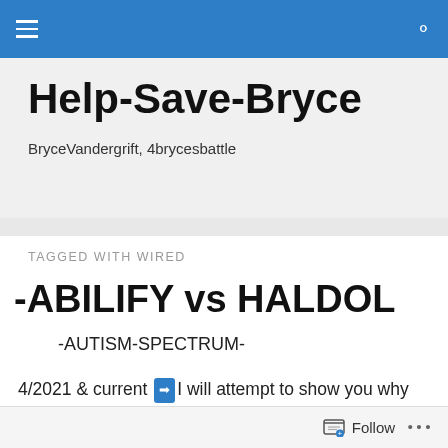Help-Save-Bryce
BryceVandergrift, 4brycesbattle
TAGGED WITH WIRED
-ABILIFY vs HALDOL
-AUTISM-SPECTRUM-
4/2021 & current ➡ I will attempt to show you why ABILIFY is the better medication for people like my son Bryce S. Vandergrift 01661857. this is the medication that he was
Follow